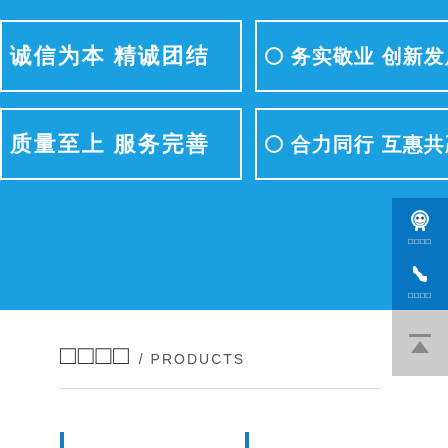诚信为本 精诚团结
○ 务实敬业 创新发展
质量至上 服务完善
○ 合力同行 互惠共赢
[Figure (screenshot): QQ/chat icon with placeholder text below]
[Figure (screenshot): Phone icon with placeholder text below]
[Figure (screenshot): Scroll-to-top button with horizontal line and up arrow]
□□□□ / PRODUCTS
[Figure (screenshot): Product section with partial product images and a bordered box on the right, two blue vertical bars at bottom]